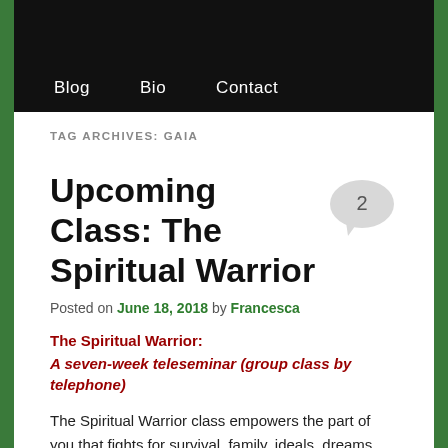Blog   Bio   Contact
TAG ARCHIVES: GAIA
Upcoming Class: The Spiritual Warrior
Posted on June 18, 2018 by Francesca
The Spiritual Warrior:
A seven-week teleseminar (group class by telephone)
The Spiritual Warrior class empowers the part of you that fights for survival, family, ideals, dreams, human rights, and Gaia.
I have not taught this class in two years, and it was over four years before that, so grab the chance.